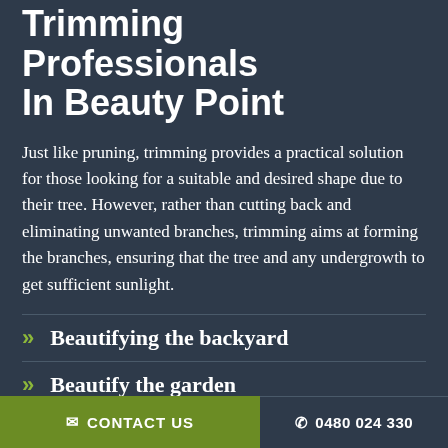Trimming Professionals In Beauty Point
Just like pruning, trimming provides a practical solution for those looking for a suitable and desired shape due to their tree. However, rather than cutting back and eliminating unwanted branches, trimming aims at forming the branches, ensuring that the tree and any undergrowth to get sufficient sunlight.
Beautifying the backyard
Beautify the garden
Overgrown limbs and branches
Ensuring that safety hazards are
CONTACT US   0480 024 330